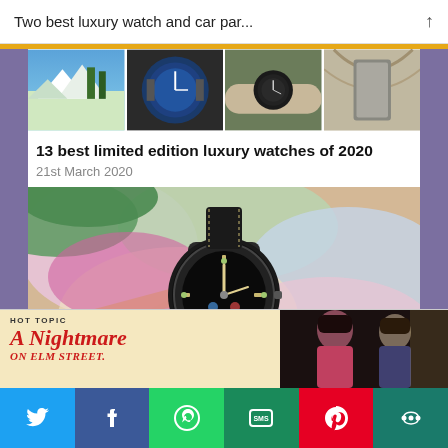Two best luxury watch and car par...
[Figure (photo): Strip of four thumbnail photos: snowy mountain scene, blue dial watch, wrist with watch, close-up of watch bezel]
13 best limited edition luxury watches of 2020
21st March 2020
[Figure (photo): Close-up photo of a black diver watch with luminous dial laid on colorful fabric scarves]
[Figure (photo): HOT TOPIC advertisement banner for A Nightmare on Elm Street with cast photo on right side]
Social share bar: Twitter, Facebook, WhatsApp, SMS, Pinterest, More